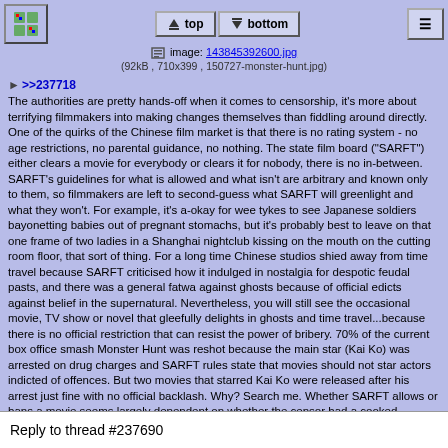top | bottom | [menu]
image: 143845392600.jpg
(92kB, 710x399, 150727-monster-hunt.jpg)
▶ >>237718
The authorities are pretty hands-off when it comes to censorship, it's more about terrifying filmmakers into making changes themselves than fiddling around directly. One of the quirks of the Chinese film market is that there is no rating system - no age restrictions, no parental guidance, no nothing. The state film board ("SARFT") either clears a movie for everybody or clears it for nobody, there is no in-between. SARFT's guidelines for what is allowed and what isn't are arbitrary and known only to them, so filmmakers are left to second-guess what SARFT will greenlight and what they won't. For example, it's a-okay for wee tykes to see Japanese soldiers bayonetting babies out of pregnant stomachs, but it's probably best to leave on that one frame of two ladies in a Shanghai nightclub kissing on the mouth on the cutting room floor, that sort of thing. For a long time Chinese studios shied away from time travel because SARFT criticised how it indulged in nostalgia for despotic feudal pasts, and there was a general fatwa against ghosts because of official edicts against belief in the supernatural. Nevertheless, you will still see the occasional movie, TV show or novel that gleefully delights in ghosts and time travel...because there is no official restriction that can resist the power of bribery. 70% of the current box office smash Monster Hunt was reshot because the main star (Kai Ko) was arrested on drug charges and SARFT rules state that movies should not star actors indicted of offences. But two movies that starred Kai Ko were released after his arrest just fine with no official backlash. Why? Search me. Whether SARFT allows or bans a movie seems largely dependent on whether the censor had a cooked breakfast that morning.

One thing you may notice about all of these projects is the heavy emphasis on traditional Chinese fantasies and fairy tales and kung fu hijinks. Very little modern day concepts, very little sci fi, very little based on anything outside China's borders. You may remember some years back that the Chinese media establishment had a bit of a collective nervous breakdown over the break-out success of Kung Fu Panda (especially the sequel). Even before that, Chinese filmmakers and opinion-formers have had a bee in their bonnet
Reply to thread #237690